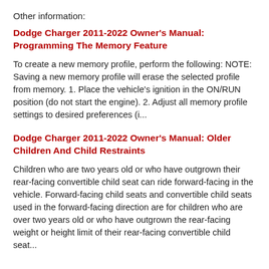Other information:
Dodge Charger 2011-2022 Owner's Manual: Programming The Memory Feature
To create a new memory profile, perform the following: NOTE: Saving a new memory profile will erase the selected profile from memory. 1. Place the vehicle's ignition in the ON/RUN position (do not start the engine). 2. Adjust all memory profile settings to desired preferences (i...
Dodge Charger 2011-2022 Owner's Manual: Older Children And Child Restraints
Children who are two years old or who have outgrown their rear-facing convertible child seat can ride forward-facing in the vehicle. Forward-facing child seats and convertible child seats used in the forward-facing direction are for children who are over two years old or who have outgrown the rear-facing weight or height limit of their rear-facing convertible child seat...